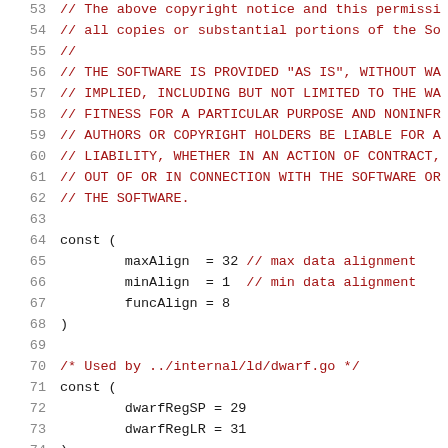Source code listing, lines 53–74, showing copyright notice comments and Go const blocks for alignment and dwarf register constants.